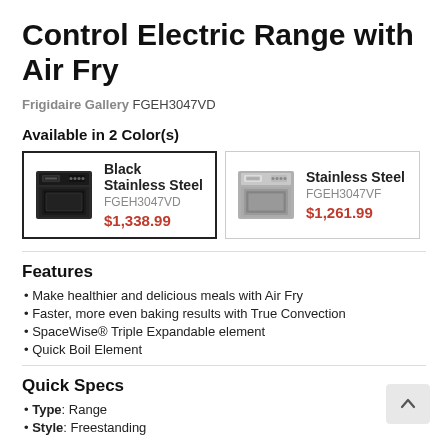Control Electric Range with Air Fry
Frigidaire Gallery FGEH3047VD
Available in 2 Color(s)
[Figure (other): Product color option: Black Stainless Steel FGEH3047VD $1,338.99 (selected)]
[Figure (other): Product color option: Stainless Steel FGEH3047VF $1,261.99]
Features
Make healthier and delicious meals with Air Fry
Faster, more even baking results with True Convection
SpaceWise® Triple Expandable element
Quick Boil Element
Quick Specs
Type: Range
Style: Freestanding